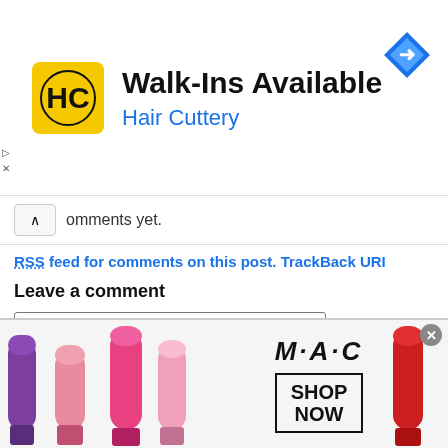[Figure (advertisement): Hair Cuttery advertisement banner with yellow HC logo, Walk-Ins Available text, navigation arrow icon]
comments yet.
RSS feed for comments on this post. TrackBack URI
Leave a comment
*Name
*Email (not published)
Website
[Figure (advertisement): MAC cosmetics advertisement with lipstick images and SHOP NOW button]